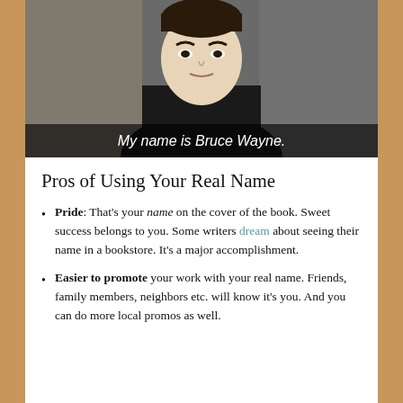[Figure (photo): Black and white animated/comic-style image of a man in dark clothing with subtitle text reading 'My name is Bruce Wayne.']
Pros of Using Your Real Name
Pride: That's your name on the cover of the book. Sweet success belongs to you. Some writers dream about seeing their name in a bookstore. It's a major accomplishment.
Easier to promote your work with your real name. Friends, family members, neighbors etc. will know it's you. And you can do more local promos as well.